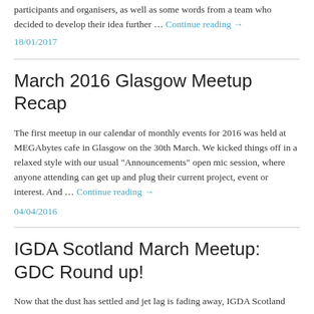participants and organisers, as well as some words from a team who decided to develop their idea further … Continue reading →
18/01/2017
March 2016 Glasgow Meetup Recap
The first meetup in our calendar of monthly events for 2016 was held at MEGAbytes cafe in Glasgow on the 30th March. We kicked things off in a relaxed style with our usual "Announcements" open mic session, where anyone attending can get up and plug their current project, event or interest. And … Continue reading →
04/04/2016
IGDA Scotland March Meetup: GDC Round up!
Now that the dust has settled and jet lag is fading away, IGDA Scotland